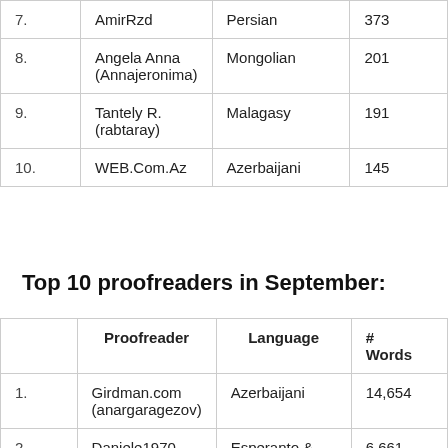|  | Proofreader | Language | # Words |
| --- | --- | --- | --- |
| 7. | AmirRzd | Persian | 373 |
| 8. | Angela Anna (Annajeronima) | Mongolian | 201 |
| 9. | Tantely R. (rabtaray) | Malagasy | 191 |
| 10. | WEB.Com.Az | Azerbaijani | 145 |
Top 10 proofreaders in September:
|  | Proofreader | Language | # Words |
| --- | --- | --- | --- |
| 1. | Girdman.com (anargaragezov) | Azerbaijani | 14,654 |
| 2. | Daniele1970 | Esperanto & Italian | 6,661 |